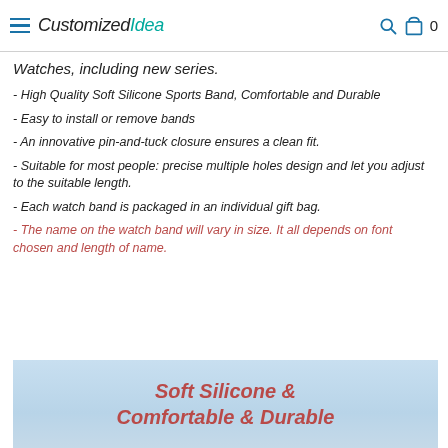CustomizedIdea 0
Watches, including new series.
- High Quality Soft Silicone Sports Band, Comfortable and Durable
- Easy to install or remove bands
- An innovative pin-and-tuck closure ensures a clean fit.
- Suitable for most people: precise multiple holes design and let you adjust to the suitable length.
- Each watch band is packaged in an individual gift bag.
- The name on the watch band will vary in size. It all depends on font chosen and length of name.
[Figure (illustration): Light blue banner image with text 'Soft Silicone & Comfortable & Durable' in rose/brown colored bold italic font]